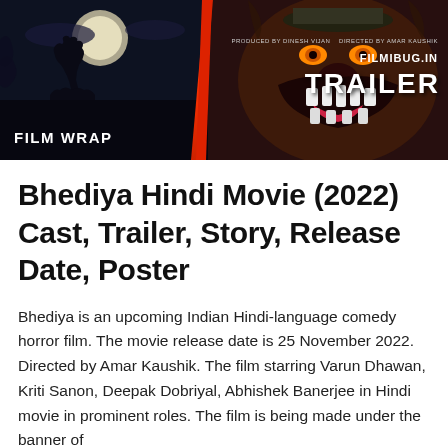[Figure (photo): Movie promotional banner for Bhediya (2022). Left side shows a dark wolf silhouette against a moonlit night sky with text 'FILM WRAP'. Right side shows a menacing creature/wolf face with sharp teeth. A red diagonal stripe separates the two halves. Upper right shows 'FILMIBUG.IN' and 'TRAILER' text in white.]
Bhediya Hindi Movie (2022) Cast, Trailer, Story, Release Date, Poster
Bhediya is an upcoming Indian Hindi-language comedy horror film. The movie release date is 25 November 2022. Directed by Amar Kaushik. The film starring Varun Dhawan, Kriti Sanon, Deepak Dobriyal, Abhishek Banerjee in Hindi movie in prominent roles. The film is being made under the banner of